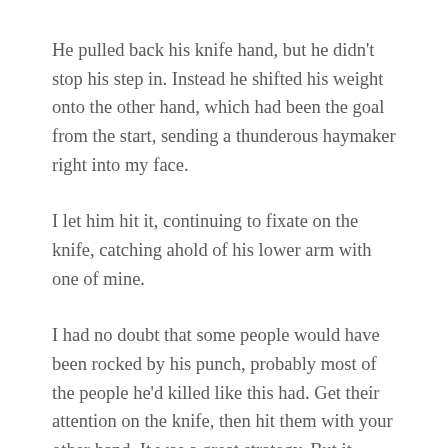He pulled back his knife hand, but he didn't stop his step in.  Instead he shifted his weight onto the other hand, which had been the goal from the start, sending a thunderous haymaker right into my face.
I let him hit it, continuing to fixate on the knife, catching ahold of his lower arm with one of mine.
I had no doubt that some people would have been rocked by his punch, probably most of the people he'd killed like this had.  Get their attention on the knife, then hit them with your other hand.  It was a great strategy.  But it didn't do much to me.
I hadn't been stepping in when it had landed, already having shifted my weight to the other...